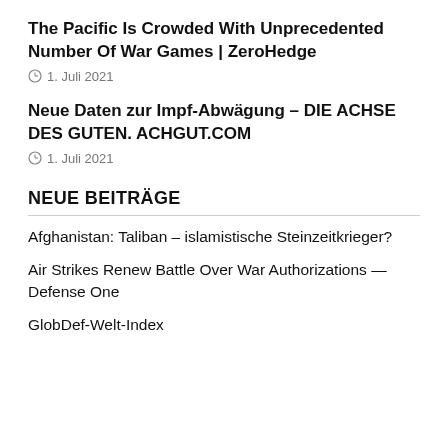The Pacific Is Crowded With Unprecedented Number Of War Games | ZeroHedge
1. Juli 2021
Neue Daten zur Impf-Abwägung – DIE ACHSE DES GUTEN. ACHGUT.COM
1. Juli 2021
NEUE BEITRÄGE
Afghanistan: Taliban – islamistische Steinzeitkrieger?
Air Strikes Renew Battle Over War Authorizations — Defense One
GlobDef-Welt-Index